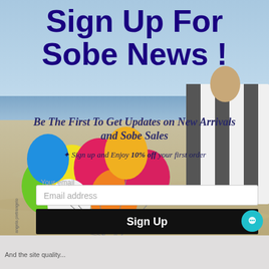[Figure (photo): Beach scene with colorful balloons on the left and a striped beach towel/umbrella on the right, sandy beach and ocean in background]
Sign Up For Sobe News !
Be The First To Get Updates on New Arrivals and Sobe Sales
Sign up and Enjoy 10% off your first order
Your email
Email address
Sign Up
And the site quality...